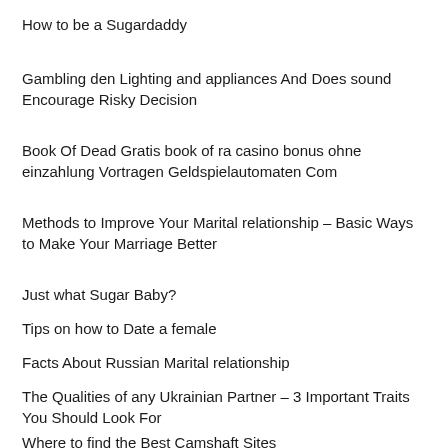How to be a Sugardaddy
Gambling den Lighting and appliances And Does sound Encourage Risky Decision
Book Of Dead Gratis book of ra casino bonus ohne einzahlung Vortragen Geldspielautomaten Com
Methods to Improve Your Marital relationship – Basic Ways to Make Your Marriage Better
Just what Sugar Baby?
Tips on how to Date a female
Facts About Russian Marital relationship
The Qualities of any Ukrainian Partner – 3 Important Traits You Should Look For
Where to find the Best Camshaft Sites